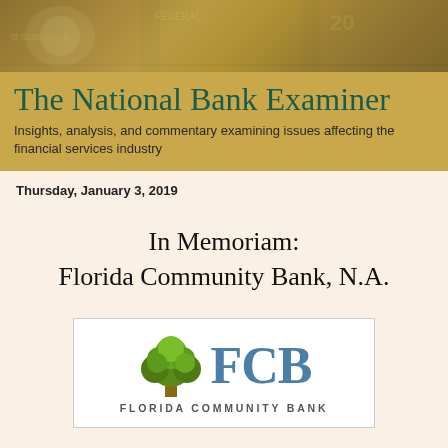[Figure (photo): Money/currency bills collage background image for newsletter header]
The National Bank Examiner
Insights, analysis, and commentary examining issues affecting the financial services industry
Thursday, January 3, 2019
In Memoriam:
Florida Community Bank, N.A.
[Figure (logo): Florida Community Bank (FCB) logo with green tree icon and blue FCB letters, Florida Community Bank text below]